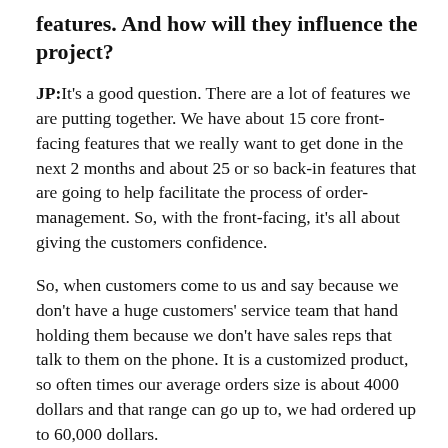features. And how will they influence the project?
JP: It's a good question. There are a lot of features we are putting together. We have about 15 core front-facing features that we really want to get done in the next 2 months and about 25 or so back-in features that are going to help facilitate the process of order-management. So, with the front-facing, it's all about giving the customers confidence.
So, when customers come to us and say because we don't have a huge customers' service team that hand holding them because we don't have sales reps that talk to them on the phone. It is a customized product, so often times our average orders size is about 4000 dollars and that range can go up to, we had ordered up to 60,000 dollars.